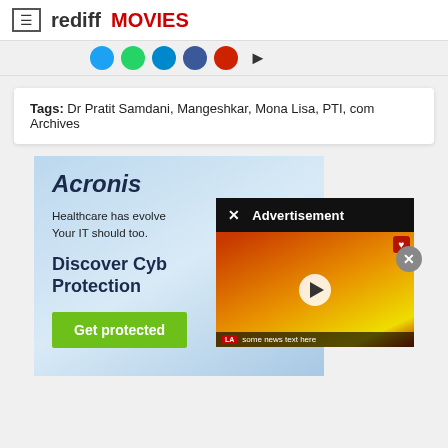rediff MOVIES
Tags: Dr Pratit Samdani, Mangeshkar, Mona Lisa, PTI, com Archives
[Figure (screenshot): Acronis advertisement with text 'Acronis', 'Healthcare has evolved. Your IT should too.', 'Discover Cyber Protection', 'Get protected' button; overlaid by a dark 'Advertisement' banner and a video thumbnail of a fire scene with play button]
Advertisement